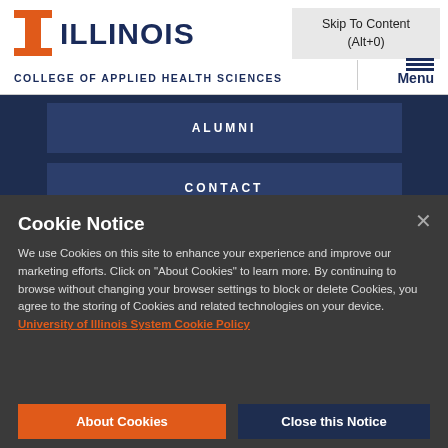Skip To Content (Alt+0)
[Figure (logo): University of Illinois Block I logo in orange and blue]
ILLINOIS
COLLEGE OF APPLIED HEALTH SCIENCES
Menu
ALUMNI
CONTACT
Cookie Notice
We use Cookies on this site to enhance your experience and improve our marketing efforts. Click on "About Cookies" to learn more. By continuing to browse without changing your browser settings to block or delete Cookies, you agree to the storing of Cookies and related technologies on your device. University of Illinois System Cookie Policy
About Cookies
Close this Notice